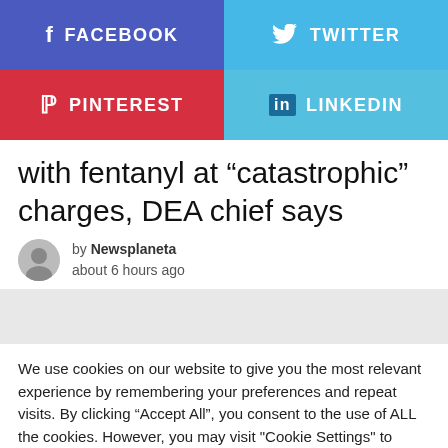[Figure (infographic): Social media share buttons: Facebook (blue-purple), Twitter (light blue), Pinterest (red), LinkedIn (light blue)]
with fentanyl at “catastrophic” charges, DEA chief says
by Newsplaneta
about 6 hours ago
[Figure (other): Gray advertisement placeholder banner]
We use cookies on our website to give you the most relevant experience by remembering your preferences and repeat visits. By clicking “Accept All”, you consent to the use of ALL the cookies. However, you may visit "Cookie Settings" to provide a controlled consent.